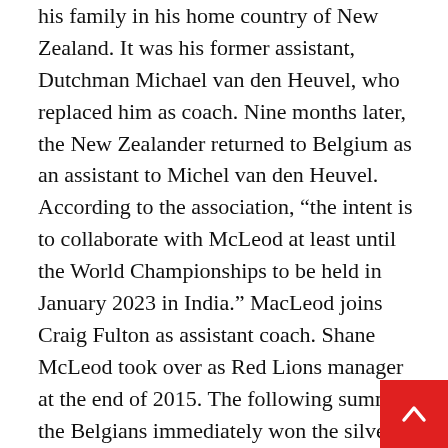his family in his home country of New Zealand. It was his former assistant, Dutchman Michael van den Heuvel, who replaced him as coach. Nine months later, the New Zealander returned to Belgium as an assistant to Michel van den Heuvel. According to the association, “the intent is to collaborate with McLeod at least until the World Championships to be held in January 2023 in India.” MacLeod joins Craig Fulton as assistant coach. Shane McLeod took over as Red Lions manager at the end of 2015. The following summer, the Belgians immediately won the silver medal at the Rio Games. Subsequently, the Red Lions were crowned world champions in 2018 and European champions in 2019. In 2021, the Red Lions won the Professional Hockey League and most importantly the Olympic title in Tokyo.